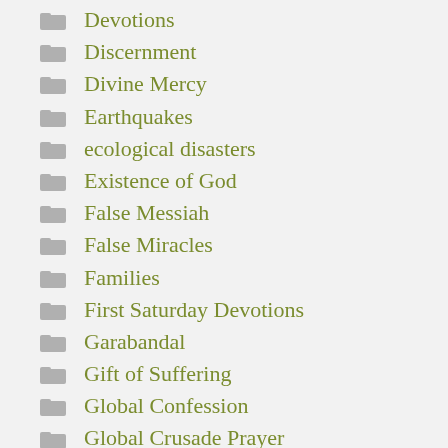Devotions
Discernment
Divine Mercy
Earthquakes
ecological disasters
Existence of God
False Messiah
False Miracles
Families
First Saturday Devotions
Garabandal
Gift of Suffering
Global Confession
Global Crusade Prayer